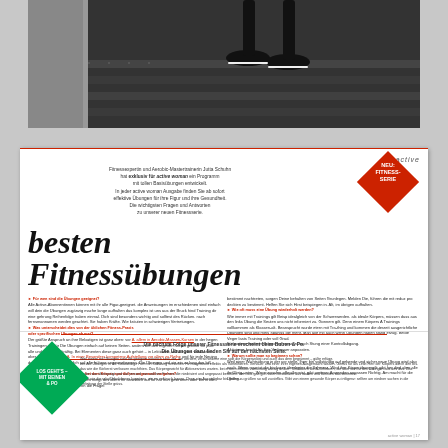[Figure (photo): Feet wearing black sneakers on dark stairs or treadmill, viewed from above]
besten Fitnessübungen
Fitnessexpertin und Aerobic-Mastertrainerin Jutta Schuhn hat exklusiv für active woman ein Programm mit tollen Basisübungen entwickelt. In jeder active woman Ausgabe finden Sie ab sofort effektive Übungen für ihre Figur und ihre Gesundheit. Die wichtigsten Fragen und Antworten zu unserer neuen Fitnessserie.
NEU: FITNESS-SERIE
Für wen sind die Übungen geeignet?
Was unterscheidet dies von der üblichen Fitness-Praxis
Wie systematisch muss es beim Sport zugehen?
Wie oft muss eine Übung wiederholt werden?
Warum sollte man so beginnen schon?
LOS GEHT'S – MIT BEINEN & PO
Die nächste Folge unserer Fitnessserie erscheint beim Buben & Po. Die Übungen dazu finden Sie auf der nächsten Seite.